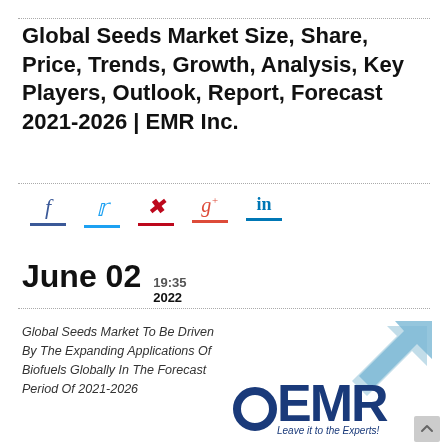Global Seeds Market Size, Share, Price, Trends, Growth, Analysis, Key Players, Outlook, Report, Forecast 2021-2026 | EMR Inc.
[Figure (infographic): Social media share icons: Facebook (f), Twitter (bird), Pinterest (p), Google+ (g+), LinkedIn (in), each with colored underline]
June 02  19:35 2022
Global Seeds Market To Be Driven By The Expanding Applications Of Biofuels Globally In The Forecast Period Of 2021-2026
[Figure (logo): EMR Inc. logo - blue EMR letters with arrow icon and tagline 'Leave it to the Experts!']